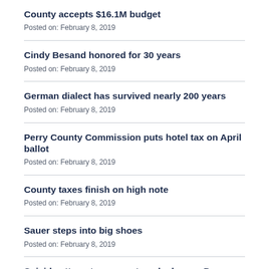County accepts $16.1M budget
Posted on: February 8, 2019
Cindy Besand honored for 30 years
Posted on: February 8, 2019
German dialect has survived nearly 200 years
Posted on: February 8, 2019
Perry County Commission puts hotel tax on April ballot
Posted on: February 8, 2019
County taxes finish on high note
Posted on: February 8, 2019
Sauer steps into big shoes
Posted on: February 8, 2019
Suicide attempts, some staged, plagues Perry